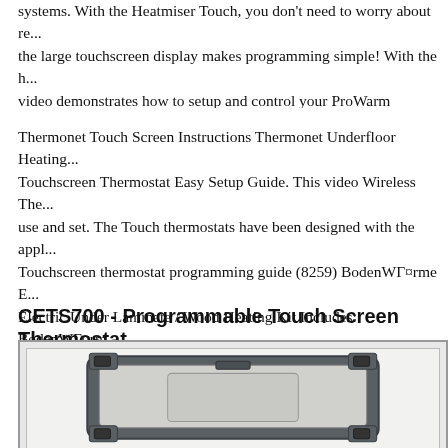systems. With the Heatmiser Touch, you don't need to worry about re... the large touchscreen display makes programming simple! With the h... video demonstrates how to setup and control your ProWarm electric... thermostat. For more information please visit www.theunderfloorhea...
Thermonet Touch Screen Instructions Thermonet Underfloor Heating... Touchscreen Thermostat Easy Setup Guide. This video Wireless The... use and set. The Touch thermostats have been designed with the appl... Touchscreen thermostat programming guide (8259) BodenWärme E... Electric Under Laminate / Wood Heating Kit Includes: BodenWärm... underfloor heating mat designed for use under laminate & wood floo... Screen Thermostat Floor temperature sensor with 3m cable and flexi... tape Comprehensive installation manual 15 Year manufacturer backe...
CETS700 - Programmable Touch Screen Thermostat
[Figure (photo): Photo of the CETS700 programmable touch screen thermostat device, showing the front face of a dark grey thermostat unit with mounting hardware and a display interface.]